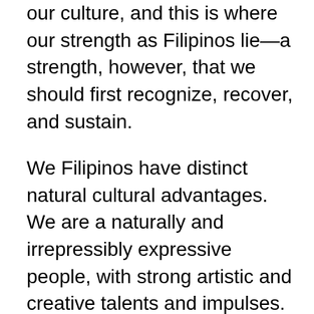our culture, and this is where our strength as Filipinos lie—a strength, however, that we should first recognize, recover, and sustain.
We Filipinos have distinct natural cultural advantages. We are a naturally and irrepressibly expressive people, with strong artistic and creative talents and impulses. We think and speak freely, no matter the cost or the consequences. We reject and resist tyranny; we have no taboos, no sacred cows. We sing of love and death in the same breath, we laugh and weep without shame, we create and light up lanterns even in the most difficult and darkest of Christmases.
That freedom and that courage is our strongest cultural resource, the wellspring of innovation and productivity. This is why we have such great artists, writers, musicians,